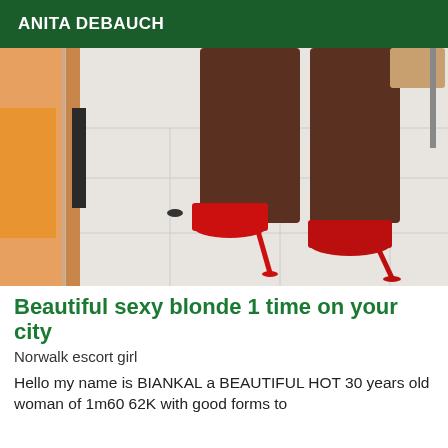ANITA DEBAUCH
[Figure (photo): A person's legs from the knees down wearing red high heels, standing on white tile floor, reflected in a mirror. A wooden door frame is visible on the left side with orange fabric visible.]
Beautiful sexy blonde 1 time on your city
Norwalk escort girl
Hello my name is BIANKAL a BEAUTIFUL HOT 30 years old woman of 1m60 62K with good forms to